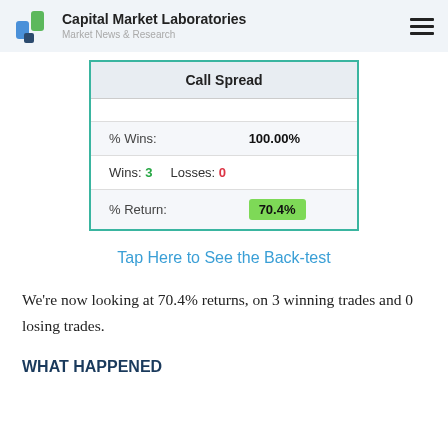Capital Market Laboratories — Market News & Research
| Call Spread |
| --- |
|  |  |
| % Wins: | 100.00% |
| Wins: 3 | Losses: 0 |
| % Return: | 70.4% |
Tap Here to See the Back-test
We're now looking at 70.4% returns, on 3 winning trades and 0 losing trades.
WHAT HAPPENED